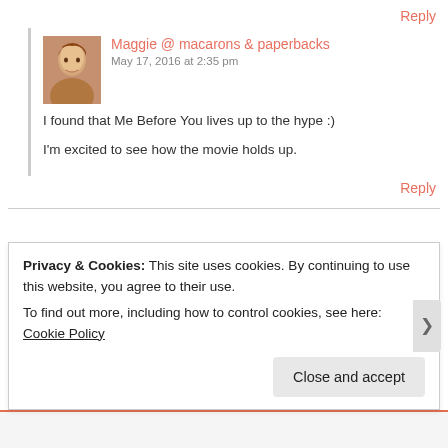Reply
Maggie @ macarons & paperbacks
May 17, 2016 at 2:35 pm
I found that Me Before You lives up to the hype :)
I'm excited to see how the movie holds up.
Reply
Privacy & Cookies: This site uses cookies. By continuing to use this website, you agree to their use.
To find out more, including how to control cookies, see here: Cookie Policy
Close and accept